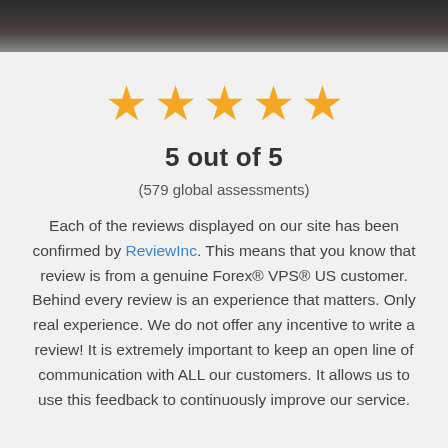[Figure (photo): Dark banner photo at top of page]
[Figure (infographic): Five gold stars rating display]
5 out of 5
(579 global assessments)
Each of the reviews displayed on our site has been confirmed by ReviewInc. This means that you know that review is from a genuine Forex® VPS® US customer. Behind every review is an experience that matters. Only real experience. We do not offer any incentive to write a review! It is extremely important to keep an open line of communication with ALL our customers. It allows us to use this feedback to continuously improve our service.